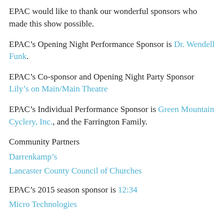back to Camelot and watch Arthurian legends “eat ham, and jam, and Spam a lot. ”
EPAC would like to thank our wonderful sponsors who made this show possible.
EPAC’s Opening Night Performance Sponsor is Dr. Wendell Funk.
EPAC’s Co-sponsor and Opening Night Party Sponsor Lily’s on Main/Main Theatre
EPAC’s Individual Performance Sponsor is Green Mountain Cyclery, Inc., and the Farrington Family.
Community Partners
Darrenkamp’s
Lancaster County Council of Churches
EPAC’s 2015 season sponsor is 12:34 Micro Technologies